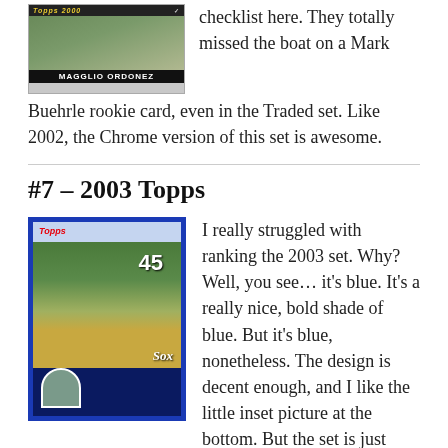[Figure (photo): Baseball card showing Magglio Ordonez, Topps 2000 set, with dark banner at top and player name bar at bottom]
checklist here. They totally missed the boat on a Mark Buehrle rookie card, even in the Traded set. Like 2002, the Chrome version of this set is awesome.
#7 – 2003 Topps
[Figure (photo): 2003 Topps baseball card with blue border showing a White Sox pitcher wearing number 45, with a small inset portrait at the bottom]
I really struggled with ranking the 2003 set. Why? Well, you see… it's blue. It's a really nice, bold shade of blue. But it's blue, nonetheless. The design is decent enough, and I like the little inset picture at the bottom. But the set is just so… blue. The checklist is fairly large for